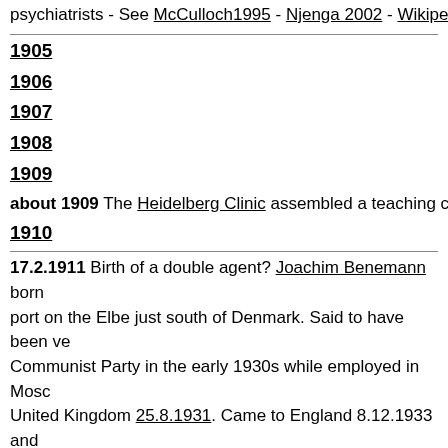psychiatrists - See McCulloch1995 - Njenga 2002 - Wikipedia
1905
1906
1907
1908
1909
about 1909 The Heidelberg Clinic assembled a teaching coll
1910
17.2.1911 Birth of a double agent? Joachim Benemann born port on the Elbe just south of Denmark. Said to have been ve Communist Party in the early 1930s while employed in Mosc United Kingdom 25.8.1931. Came to England 8.12.1933 and 1934 and 1935 he worked in the United Kingdom under Otto Embassy arranging boys camps for members of the Hitler Yo In December 1935 he was in Germany, trying to link the Hitle British Scouts. In 1936 and 1937 he arranged camps in Germ